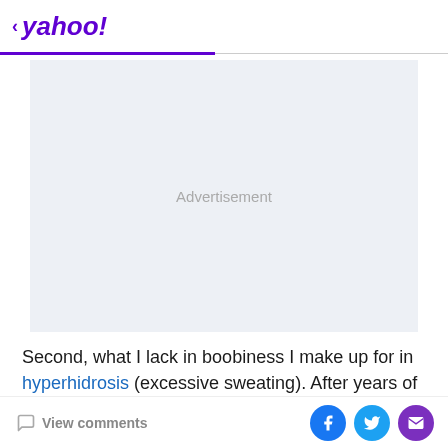< yahoo!
[Figure (other): Advertisement placeholder box with light gray background and centered 'Advertisement' text]
Second, what I lack in boobiness I make up for in hyperhidrosis (excessive sweating). After years of being
View comments | Facebook share | Twitter share | Email share